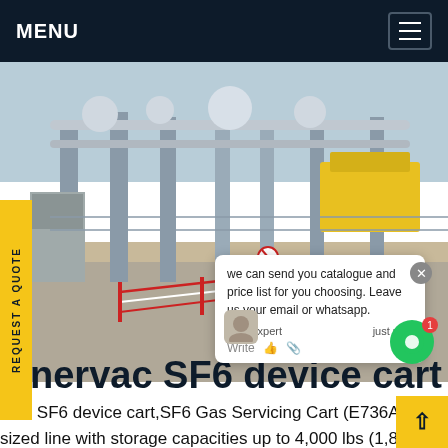MENU
[Figure (photo): Industrial electrical substation with SF6 gas equipment, large pipes, steel structures, yellow crane/vehicle in background, outdoor setting]
we can send you catalogue and price list for you choosing. Leave us your email or whatsapp.
SF6 Expert   just now
REQUEST A QUOTE
nervac SF6 device cart
rvac SF6 device cart,SF6 Gas Servicing Cart (E736A) Full sized line with storage capacities up to 4,000 lbs (1,800 kg). Oil-Less, Oil-Free and standard compressor options available. Fully automatic or